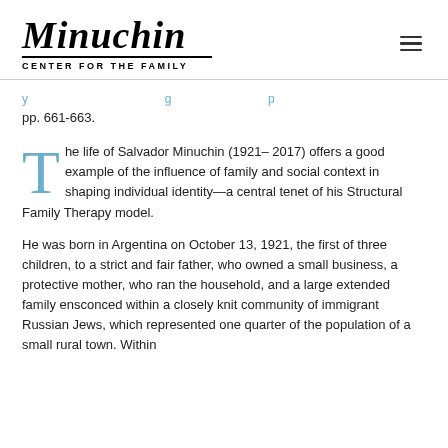Minuchin CENTER FOR THE FAMILY
pp. 661-663.
The life of Salvador Minuchin (1921– 2017) offers a good example of the influence of family and social context in shaping individual identity—a central tenet of his Structural Family Therapy model.
He was born in Argentina on October 13, 1921, the first of three children, to a strict and fair father, who owned a small business, a protective mother, who ran the household, and a large extended family ensconced within a closely knit community of immigrant Russian Jews, which represented one quarter of the population of a small rural town. Within